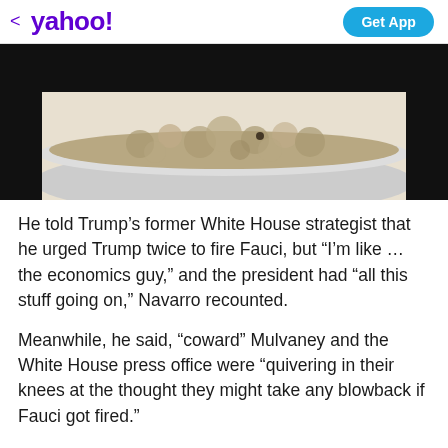yahoo! | Get App
[Figure (photo): Close-up photo of a bowl of oatmeal or porridge on a white plate, with a black banner above it]
He told Trump's former White House strategist that he urged Trump twice to fire Fauci, but “I’m like … the economics guy,” and the president had “all this stuff going on,” Navarro recounted.
Meanwhile, he said, “coward” Mulvaney and the White House press office were “quivering in their knees at the thought they might take any blowback if Fauci got fired.”
View comments